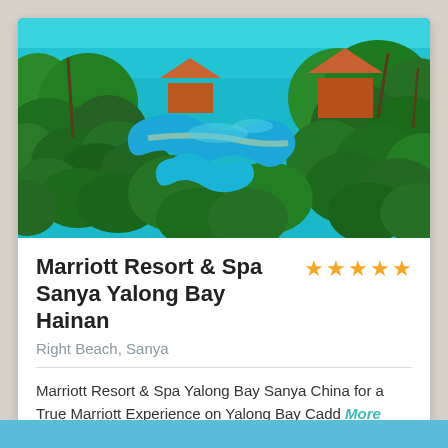[Figure (photo): Aerial view of Marriott Resort & Spa Sanya Yalong Bay Hainan, showing lush tropical greenery, winding blue swimming pools, and resort buildings with red rooftops, with turquoise ocean visible in the background.]
Marriott Resort & Spa Sanya Yalong Bay Hainan
Right Beach, Sanya
Marriott Resort & Spa Yalong Bay Sanya China for a True Marriott Experience on Yalong Bay Cadd More info
BOOK NOW